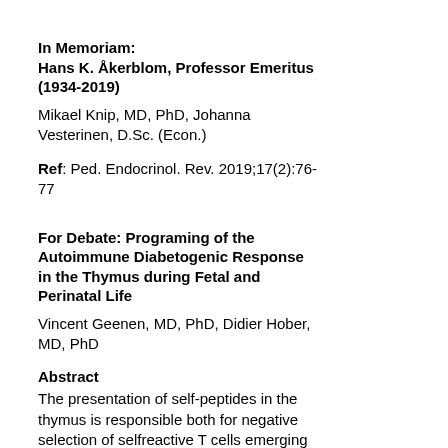In Memoriam: Hans K. Åkerblom, Professor Emeritus (1934-2019)
Mikael Knip, MD, PhD, Johanna Vesterinen, D.Sc. (Econ.)
Ref: Ped. Endocrinol. Rev. 2019;17(2):76-77
For Debate: Programing of the Autoimmune Diabetogenic Response in the Thymus during Fetal and Perinatal Life
Vincent Geenen, MD, PhD, Didier Hober, MD, PhD
Abstract
The presentation of self-peptides in the thymus is responsible both for negative selection of selfreactive T cells emerging during stochastic TCR recombination in fetal life, as well as positive selection of self-specific regulatory thymic T (tTreg)